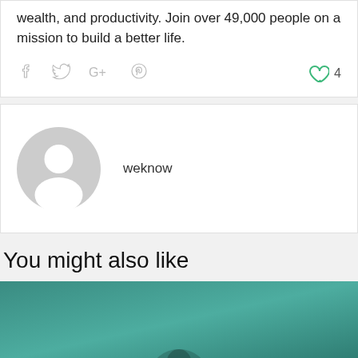wealth, and productivity. Join over 49,000 people on a mission to build a better life.
[Figure (infographic): Social sharing icons (Facebook, Twitter, Google+, Pinterest) and a green heart like button with count 4]
[Figure (photo): Default user avatar (gray circle with person silhouette) next to username 'weknow']
weknow
You might also like
[Figure (photo): Teal/green colored photo, partially visible at bottom of page]